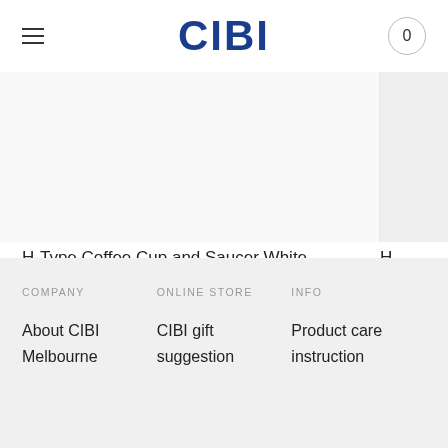CIBI | 0
[Figure (photo): Product image area showing H-Type Coffee Cup and Saucer White, mostly white/blank space with product partially visible on right edge]
H-Type Coffee Cup and Saucer White
$65.00
H
$
COMPANY | ONLINE STORE | INFO | About CIBI | CIBI gift suggestion | Product care instruction | Melbourne